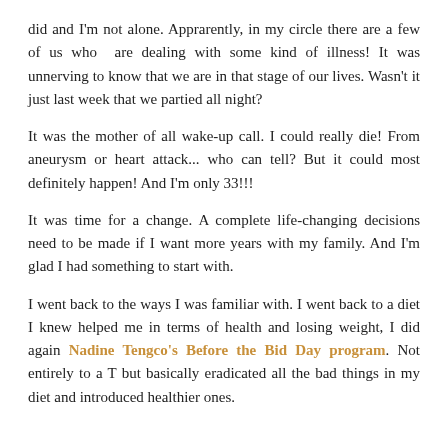did and I'm not alone. Apprarently, in my circle there are a few of us who  are dealing with some kind of illness! It was unnerving to know that we are in that stage of our lives. Wasn't it just last week that we partied all night?
It was the mother of all wake-up call. I could really die! From aneurysm or heart attack... who can tell? But it could most definitely happen! And I'm only 33!!!
It was time for a change. A complete life-changing decisions need to be made if I want more years with my family. And I'm glad I had something to start with.
I went back to the ways I was familiar with. I went back to a diet I knew helped me in terms of health and losing weight, I did again Nadine Tengco's Before the Bid Day program. Not entirely to a T but basically eradicated all the bad things in my diet and introduced healthier ones.